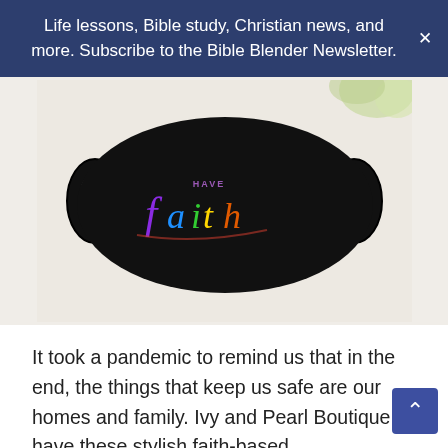Life lessons, Bible study, Christian news, and more. Subscribe to the Bible Blender Newsletter.
[Figure (photo): A black face mask with colorful rainbow-gradient script text reading 'have faith', placed on a light beige surface with a plant in the background.]
It took a pandemic to remind us that in the end, the things that keep us safe are our homes and family. Ivy and Pearl Boutique have these stylish faith-based